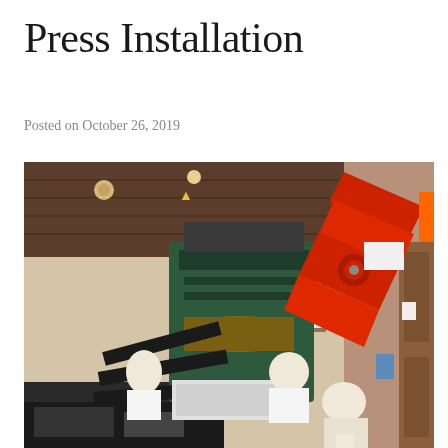Press Installation
Posted on October 26, 2019
[Figure (photo): Indoor photo showing a large green printing press being lifted and maneuvered into a room by a red mechanical crane/arm. Several workers are visible assisting with the installation. The room has a wood-paneled ceiling with recessed lighting, beige walls, and a small window. The press equipment is being lowered onto the floor near other machinery.]